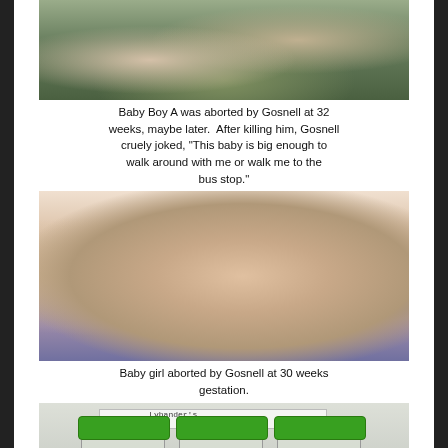[Figure (photo): Photo of remains in a container (Baby Boy A), partially cropped at top]
Baby Boy A was aborted by Gosnell at 32 weeks, maybe later.  After killing him, Gosnell cruely joked, "This baby is big enough to walk around with me or walk me to the bus stop."
[Figure (photo): Photo of premature baby (Baby girl aborted by Gosnell at 30 weeks gestation)]
Baby girl aborted by Gosnell at 30 weeks gestation.
[Figure (photo): Photo of three specimen jars with green lids on a shelf, labeled with handwritten text]